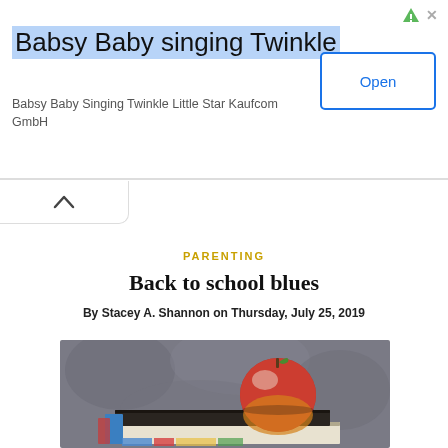[Figure (screenshot): Ad banner for Babsy Baby singing Twinkle app by Kaufcom GmbH with Open button]
PARENTING
Back to school blues
By Stacey A. Shannon on Thursday, July 25, 2019
[Figure (photo): A red apple sitting on top of a stack of books against a blurred grey background]